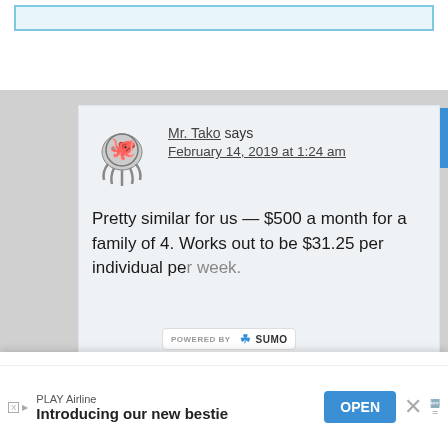[Figure (screenshot): Top white bar with a light blue input-like bar inside]
Mr. Tako says
February 14, 2019 at 1:24 am
Pretty similar for us — $500 a month for a family of 4. Works out to be $31.25 per individual pe... week.
[Figure (logo): POWERED BY SUMO badge]
BECOME A MONEY WIZARD
Signup today and start receiving your FREE newsletter, where we'll notify you on all new updates.
Enter your Email
[Figure (screenshot): Ad bar at bottom: PLAY Airline, Introducing our new bestie, OPEN button]